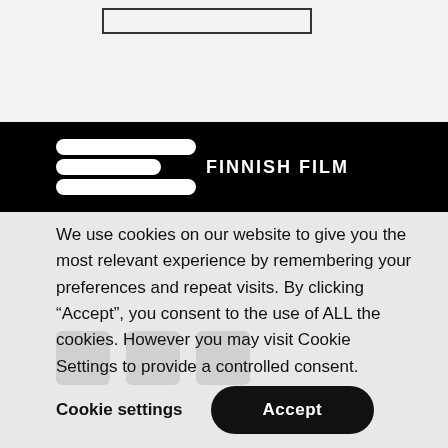[Figure (screenshot): Top section with light grey background and a search bar outline]
[Figure (logo): Finnish Film Foundation SES logo — three white rounded bars with text 'FINNISH FILM' on black background]
We use cookies on our website to give you the most relevant experience by remembering your preferences and repeat visits. By clicking “Accept”, you consent to the use of ALL the cookies. However you may visit Cookie Settings to provide a controlled consent.
Cookie settings
Accept